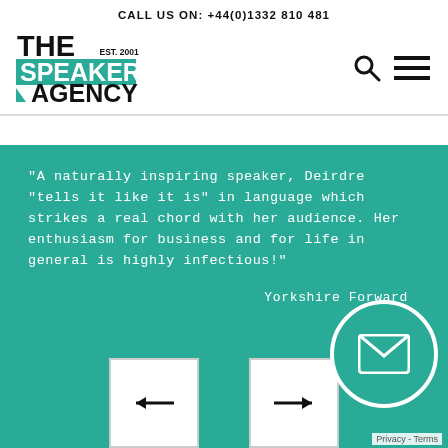CALL US ON: +44(0)1332 810 481
[Figure (logo): The Speakers Agency logo with teal banner, EST. 2001 text, and speech bubble graphic]
"A naturally inspiring speaker, Deirdre "tells it like it is" in language which strikes a real chord with her audience. Her enthusiasm for business and for life in general is highly infectious!"
Yorkshire Forward
[Figure (other): Left arrow navigation button in white box]
[Figure (other): Right arrow navigation button in white box]
[Figure (other): Teal circular email/envelope contact button]
Privacy - Terms